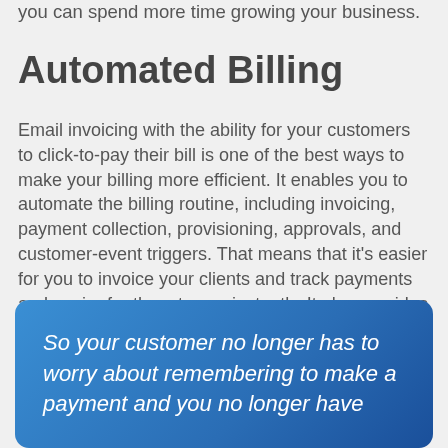you can spend more time growing your business.
Automated Billing
Email invoicing with the ability for your customers to click-to-pay their bill is one of the best ways to make your billing more efficient. It enables you to automate the billing routine, including invoicing, payment collection, provisioning, approvals, and customer-event triggers. That means that it's easier for you to invoice your clients and track payments and easier for them to pay instantly. It also provides the opportunity for your customers to set up recurring payments, where they select a payment plan and frequency from the options you provide.
So your customer no longer has to worry about remembering to make a payment and you no longer have